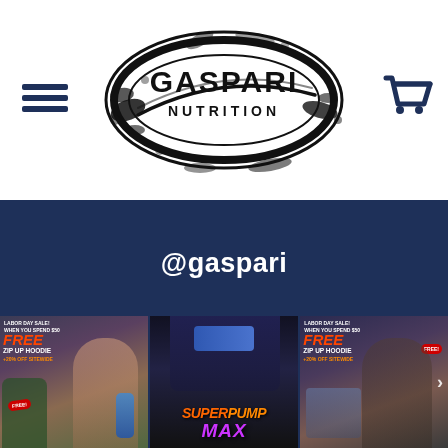[Figure (logo): Gaspari Nutrition logo — black oval with grunge paint splatter, text GASPARI NUTRITION inside]
[Figure (illustration): Hamburger menu icon (three horizontal lines) in dark blue, top-left of header]
[Figure (illustration): Shopping cart icon in dark blue, top-right of header]
@gaspari
[Figure (photo): Three Instagram-style promotional photos in a row: Left - woman athlete holding Gaspari product with Labor Day sale overlay showing FREE ZIP UP HOODIE when you spend $50; Center - Gaspari SuperPump Max product close-up; Right - male athlete with Labor Day sale overlay showing FREE ZIP UP HOODIE when you spend $50, with a next-arrow navigation button]